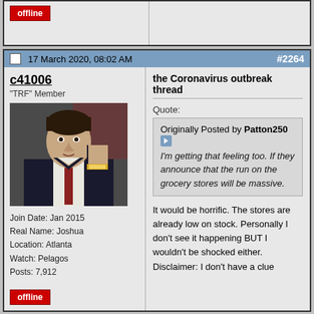offline
17 March 2020, 08:02 AM  #2264
c41006
"TRF" Member
[Figure (photo): Avatar photo of a man in a dark suit with a watch, holding his fist up]
Join Date: Jan 2015
Real Name: Joshua
Location: Atlanta
Watch: Pelagos
Posts: 7,912
the Coronavirus outbreak thread
Quote:
Originally Posted by Patton250
I'm getting that feeling too. If they announce that the run on the grocery stores will be massive.
It would be horrific. The stores are already low on stock. Personally I don't see it happening BUT I wouldn't be shocked either. Disclaimer: I don't have a clue
offline
17 March 2020, 08:03 AM
mountainjogger
Let's all take a time out and watch Arnold and his donkeys give us a pep talk.